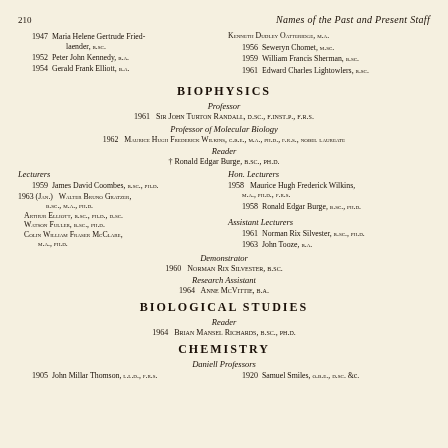210   Names of the Past and Present Staff
1947 Maria Helene Gertrude Friedlaender, B.SC. | Kenneth Dudley Oatteridge, M.A.
1956 Seweryn Chomet, M.SC.
1952 Peter John Kennedy, B.A. | 1959 William Francis Sherman, B.SC.
1954 Gerald Frank Elliott, B.A. | 1961 Edward Charles Lightowlers, B.SC.
BIOPHYSICS
Professor
1961 Sir John Turton Randall, D.SC., F.INST.P., F.R.S.
Professor of Molecular Biology
1962 Maurice Hugh Frederick Wilkins, C.B.E., M.A., PH.D., F.R.S., NOBEL LAUREATE
Reader
† Ronald Edgar Burge, B.SC., PH.D.
Lecturers | Hon. Lecturers
1959 James David Coombes, B.SC., PH.D. | 1958 Maurice Hugh Frederick Wilkins, M.A., PH.D., F.R.S.
1963 (Jan.) Walter Bruno Gratzer, B.SC., M.A., PH.D. | 1958 Ronald Edgar Burge, B.SC., PH.D.
Arthur Elliott, B.SC., PH.D., D.SC. | Assistant Lecturers
Watson Fuller, B.SC., PH.D.
Colin William Fraser McClare, M.A., PH.D. | 1961 Norman Rix Silvester, B.SC., PH.D.
1963 John Tooze, B.A.
Demonstrator
1960 Norman Rix Silvester, B.SC.
Research Assistant
1964 Anne McVittie, B.A.
BIOLOGICAL STUDIES
Reader
1964 Brian Mansel Richards, B.SC., PH.D.
CHEMISTRY
Daniell Professors
1905 John Millar Thomson, L.L.D., F.R.S. | 1920 Samuel Smiles, O.B.E., D.SC. &c.